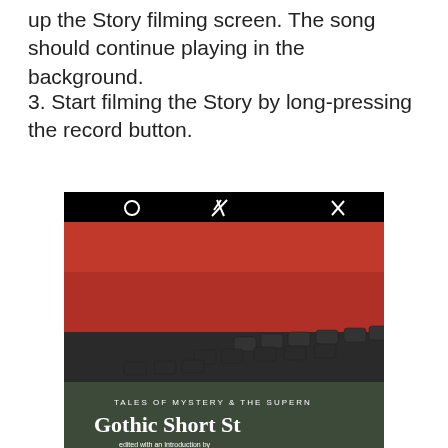up the Story filming screen. The song should continue playing in the background.
3. Start filming the Story by long-pressing the record button.
[Figure (screenshot): A screenshot of a smartphone Story camera interface showing a red laptop keyboard being filmed. The screen shows camera UI icons (circle, lightning bolt crossed out, X) at the top, and a book titled 'Tales of Mystery & The Supern... Gothic Short St...' is partially visible at the bottom of the frame.]